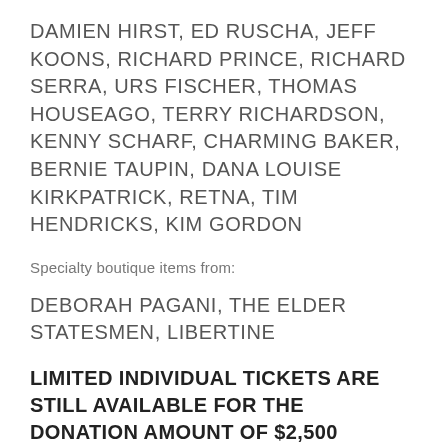DAMIEN HIRST, ED RUSCHA, JEFF KOONS, RICHARD PRINCE, RICHARD SERRA, URS FISCHER, THOMAS HOUSEAGO, TERRY RICHARDSON, KENNY SCHARF, CHARMING BAKER, BERNIE TAUPIN, DANA LOUISE KIRKPATRICK, RETNA, TIM HENDRICKS, KIM GORDON
Specialty boutique items from:
DEBORAH PAGANI, THE ELDER STATESMEN, LIBERTINE
LIMITED INDIVIDUAL TICKETS ARE STILL AVAILABLE FOR THE DONATION AMOUNT OF $2,500